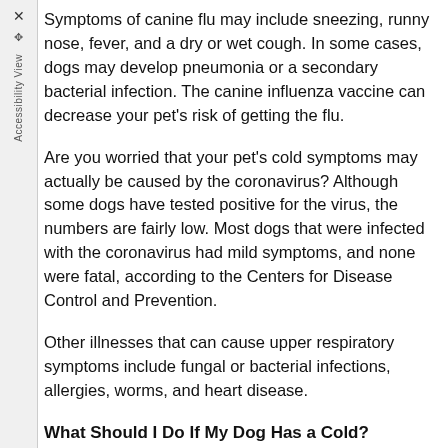Symptoms of canine flu may include sneezing, runny nose, fever, and a dry or wet cough. In some cases, dogs may develop pneumonia or a secondary bacterial infection. The canine influenza vaccine can decrease your pet's risk of getting the flu.
Are you worried that your pet's cold symptoms may actually be caused by the coronavirus? Although some dogs have tested positive for the virus, the numbers are fairly low. Most dogs that were infected with the coronavirus had mild symptoms, and none were fatal, according to the Centers for Disease Control and Prevention.
Other illnesses that can cause upper respiratory symptoms include fungal or bacterial infections, allergies, worms, and heart disease.
What Should I Do If My Dog Has a Cold?
Since it's not easy to tell what type of illness is